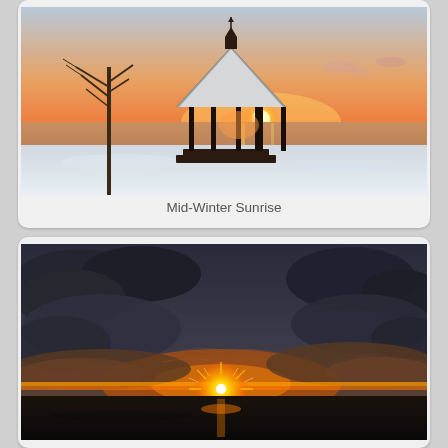[Figure (photo): Winter sunrise photo showing a snow-covered gazebo/pavilion with a weather vane on top, silhouetted against a vivid orange and pink sunset/sunrise sky over a calm body of water. A bare tree is visible on the left.]
Mid-Winter Sunrise
[Figure (photo): Dramatic sunset/sunrise photo over a body of water with dark stormy clouds and vivid orange/yellow sunburst breaking through clouds near the horizon over icy or calm water.]